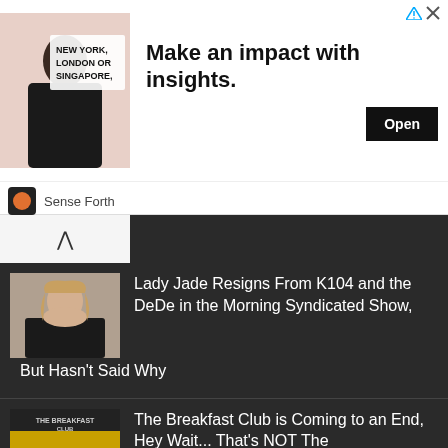[Figure (infographic): Advertisement banner: image of man with text 'NEW YORK, LONDON OR SINGAPORE,' alongside headline 'Make an impact with insights.' and an Open button. Sponsored by Sense Forth.]
Make an impact with insights.
Sense Forth
Lady Jade Resigns From K104 and the DeDe in the Morning Syndicated Show, But Hasn't Said Why
The Breakfast Club is Coming to an End, Hey Wait... That's NOT The Reason They're Not on Revolt TV
Michael Shawn Exits DeDe in the Morning and Service Broadcasting Group is Seeking a New Co-Host for the Show